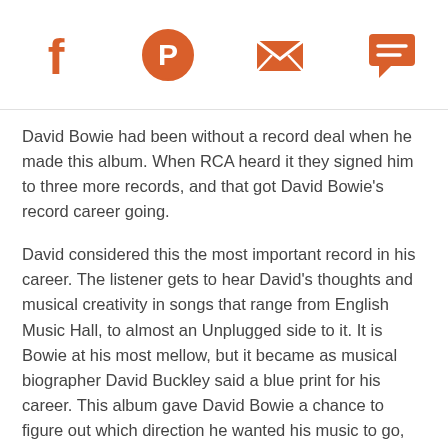[Social sharing icons: Facebook, Pinterest, Email, Chat]
David Bowie had been without a record deal when he made this album. When RCA heard it they signed him to three more records, and that got David Bowie’s record career going.
David considered this the most important record in his career. The listener gets to hear David’s thoughts and musical creativity in songs that range from English Music Hall, to almost an Unplugged side to it. It is Bowie at his most mellow, but it became as musical biographer David Buckley said a blue print for his career. This album gave David Bowie a chance to figure out which direction he wanted his music to go, and the fact that it was well received told him he was going in the right direction.